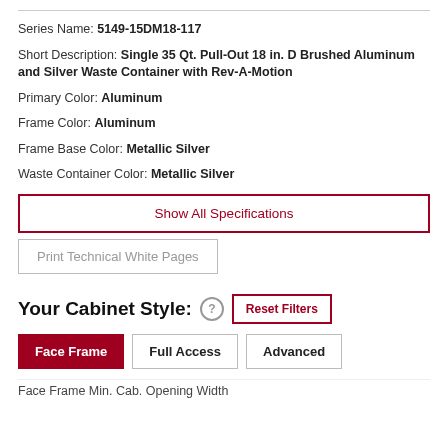Series Name: 5149-15DM18-117
Short Description: Single 35 Qt. Pull-Out 18 in. D Brushed Aluminum and Silver Waste Container with Rev-A-Motion
Primary Color: Aluminum
Frame Color: Aluminum
Frame Base Color: Metallic Silver
Waste Container Color: Metallic Silver
Show All Specifications
Print Technical White Pages
Your Cabinet Style:
Reset Filters
Face Frame
Full Access
Advanced
Face Frame Min. Cab. Opening Width